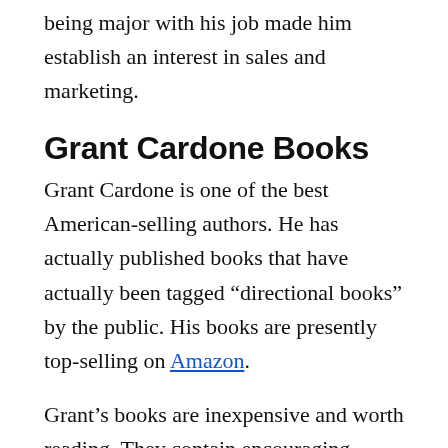being major with his job made him establish an interest in sales and marketing.
Grant Cardone Books
Grant Cardone is one of the best American-selling authors. He has actually published books that have actually been tagged “directional books” by the public. His books are presently top-selling on Amazon.
Grant’s books are inexpensive and worth reading. They contain encouraging information and guides one would pay a thousand dollars for. Below is a complete list of his books.\